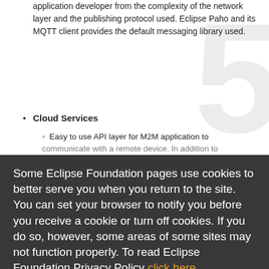application developer from the complexity of the network layer and the publishing protocol used. Eclipse Paho and its MQTT client provides the default messaging library used.
Cloud Services
Easy to use API layer for M2M application to communicate with a remote device. In addition to publishing/subscribing to M2M data, the API also provides the ability to remotely control and configure a remote device.
... allows the M2M server to be ... in the ... ning.
... DontreachAdmin ... MapType to provide management ... Import/export the configuration of a device
Remote Management
allow for remote deployment of the M2M applications installed in Kura including their deployment, upgrade and configuration management
Some Eclipse Foundation pages use cookies to better serve you when you return to the site. You can set your browser to notify you before you receive a cookie or turn off cookies. If you do so, however, some areas of some sites may not function properly. To read Eclipse Foundation Privacy Policy click here.